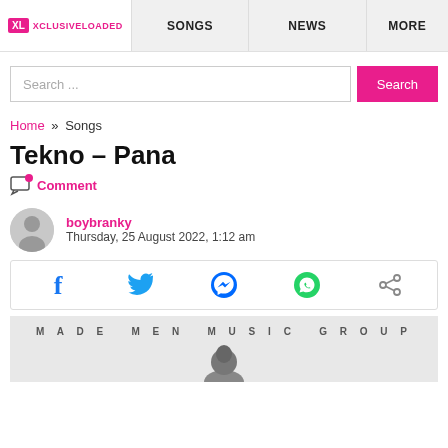XL XCLUSIVELOADED | SONGS | NEWS | MORE
Search ...
Home » Songs
Tekno – Pana
Comment
boybranky
Thursday, 25 August 2022, 1:12 am
[Figure (infographic): Social share bar with Facebook, Twitter, Messenger, WhatsApp, and share icons]
[Figure (photo): Album art with text 'MADE MEN MUSIC GROUP' and partial silhouette of a person]